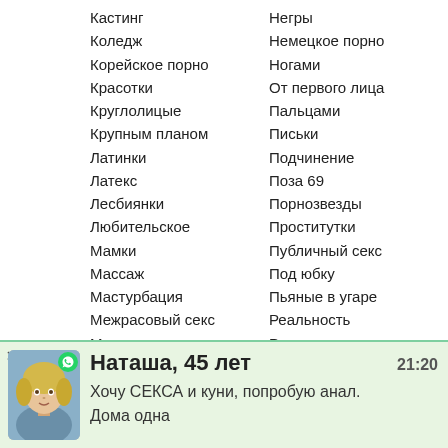Кастинг
Коледж
Корейское порно
Красотки
Круглолицые
Крупным планом
Латинки
Латекс
Лесбиянки
Любительское
Мамки
Массаж
Мастурбация
Межрасовый секс
Минет
Молоденькие 18+
Мультфильмы
На лицо
На пляже
На улице
Негры
Немецкое порно
Ногами
От первого лица
Пальцами
Письки
Подчинение
Поза 69
Порнозвезды
Проститутки
Публичный секс
Под юбку
Пьяные в угаре
Реальность
Рыжие
Русское порно
Свингеры
Семяизвержение
Сидя
Сиськи
Наташа, 45 лет  21:20
Хочу СЕКСА и куни, попробую анал.
Дома одна